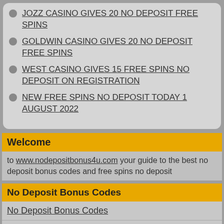JOZZ CASINO GIVES 20 NO DEPOSIT FREE SPINS
GOLDWIN CASINO GIVES 20 NO DEPOSIT FREE SPINS
WEST CASINO GIVES 15 FREE SPINS NO DEPOSIT ON REGISTRATION
NEW FREE SPINS NO DEPOSIT TODAY 1 AUGUST 2022
Welcome
to www.nodepositbonus4u.com your guide to the best no deposit bonus codes and free spins no deposit
No Deposit Bonus Codes
No Deposit Bonus Codes
No Deposit Bonus Codes USA
No Deposit Bonus Codes Australia